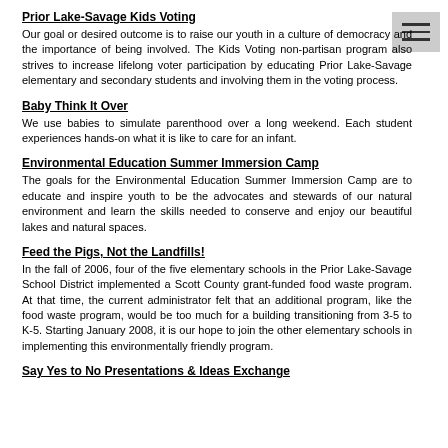Prior Lake-Savage Kids Voting
Our goal or desired outcome is to raise our youth in a culture of democracy and the importance of being involved. The Kids Voting non-partisan program also strives to increase lifelong voter participation by educating Prior Lake-Savage elementary and secondary students and involving them in the voting process.
Baby Think It Over
We use babies to simulate parenthood over a long weekend. Each student experiences hands-on what it is like to care for an infant.
Environmental Education Summer Immersion Camp
The goals for the Environmental Education Summer Immersion Camp are to educate and inspire youth to be the advocates and stewards of our natural environment and learn the skills needed to conserve and enjoy our beautiful lakes and natural spaces.
Feed the Pigs, Not the Landfills!
In the fall of 2006, four of the five elementary schools in the Prior Lake-Savage School District implemented a Scott County grant-funded food waste program. At that time, the current administrator felt that an additional program, like the food waste program, would be too much for a building transitioning from 3-5 to K-5. Starting January 2008, it is our hope to join the other elementary schools in implementing this environmentally friendly program.
Say Yes to No Presentations & Ideas Exchange